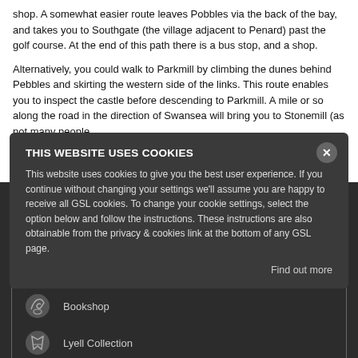shop. A somewhat easier route leaves Pobbles via the back of the bay, and takes you to Southgate (the village adjacent to Penard) past the golf course. At the end of this path there is a bus stop, and a shop.
Alternatively, you could walk to Parkmill by climbing the dunes behind Pebbles and skirting the western side of the links. This route enables you to inspect the castle before descending to Parkmill. A mile or so along the road in the direction of Swansea will bring you to Stonemill (as not many people...
Read next tour... Rhossili
THIS WEBSITE USES COOKIES
This website uses cookies to give you the best user experience. If you continue without changing your settings we'll assume you are happy to receive all GSL cookies. To change your cookie settings, select the option below and follow the instructions. These instructions are also obtainable from the privacy & cookies link at the bottom of any GSL page.
Find out more
Quick Links
Join the Society
Already a Member?
Bookshop
Lyell Collection
Events